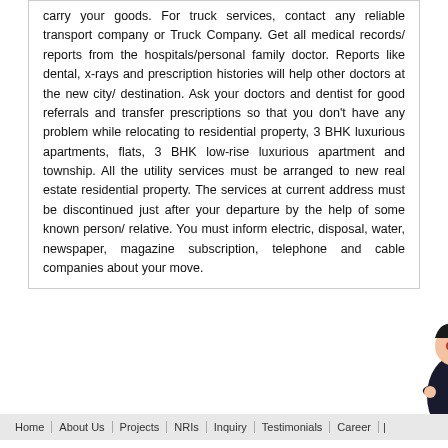carry your goods. For truck services, contact any reliable transport company or Truck Company. Get all medical records/ reports from the hospitals/personal family doctor. Reports like dental, x-rays and prescription histories will help other doctors at the new city/ destination. Ask your doctors and dentist for good referrals and transfer prescriptions so that you don't have any problem while relocating to residential property, 3 BHK luxurious apartments, flats, 3 BHK low-rise luxurious apartment and township. All the utility services must be arranged to new real estate residential property. The services at current address must be discontinued just after your departure by the help of some known person/ relative. You must inform electric, disposal, water, newspaper, magazine subscription, telephone and cable companies about your move.
[Figure (infographic): Social share buttons: Facebook (blue), Twitter (light blue), Email (gray), Pinterest (red). A female character illustration with arms crossed. Live Chat speech bubble in dark background.]
[Figure (infographic): WhatsApp green button with phone icon and WhatsApp label. Social media circle icons: Facebook, Instagram, Twitter, Pinterest, LinkedIn, YouTube.]
Home | About Us | Projects | NRIs | Inquiry | Testimonials | Career |